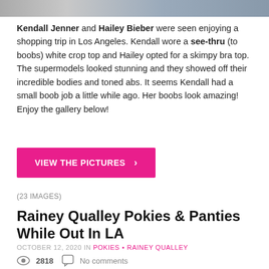[Figure (photo): Top cropped photo strip showing two people]
Kendall Jenner and Hailey Bieber were seen enjoying a shopping trip in Los Angeles. Kendall wore a see-thru (to boobs) white crop top and Hailey opted for a skimpy bra top. The supermodels looked stunning and they showed off their incredible bodies and toned abs. It seems Kendall had a small boob job a little while ago. Her boobs look amazing! Enjoy the gallery below!
VIEW THE PICTURES >
(23 IMAGES)
Rainey Qualley Pokies & Panties While Out In LA
OCTOBER 12, 2020 IN POKIES • RAINEY QUALLEY
2818  No comments
[Figure (photo): Bottom cropped photo of a person with dark hair]